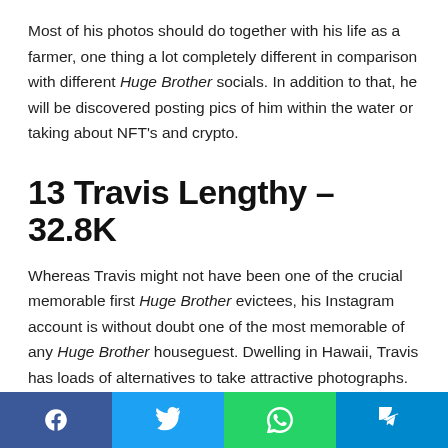Most of his photos should do together with his life as a farmer, one thing a lot completely different in comparison with different Huge Brother socials. In addition to that, he will be discovered posting pics of him within the water or taking about NFT's and crypto.
13 Travis Lengthy – 32.8K
Whereas Travis might not have been one of the crucial memorable first Huge Brother evictees, his Instagram account is without doubt one of the most memorable of any Huge Brother houseguest. Dwelling in Hawaii, Travis has loads of alternatives to take attractive photographs.
Social share buttons: Facebook, Twitter, WhatsApp, Telegram